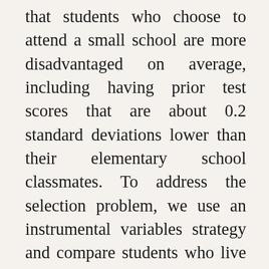that students who choose to attend a small school are more disadvantaged on average, including having prior test scores that are about 0.2 standard deviations lower than their elementary school classmates. To address the selection problem, we use an instrumental variables strategy and compare students who live in the same neighborhoods but differ in their residential proximity to a small school. In this approach, one student is more likely to sign up for a small school than another statistically identical student because the small school is located closer to the student’s house and therefore the “cost” of attending the school is lower. The distance-to-small-school variable has strong predictive power to identify who attends a